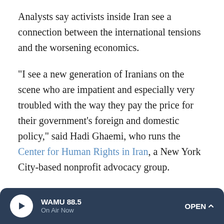Analysts say activists inside Iran see a connection between the international tensions and the worsening economics.
"I see a new generation of Iranians on the scene who are impatient and especially very troubled with the way they pay the price for their government's foreign and domestic policy," said Hadi Ghaemi, who runs the Center for Human Rights in Iran, a New York City-based nonprofit advocacy group.
But Ghaemi, speaking via Skype, said the Trump administration's other policies hurt average Iranians. Those include a travel ban and the resumption of economic sanctions, including a new round set to target Iran's automotive industry next month
WAMU 88.5 On Air Now OPEN